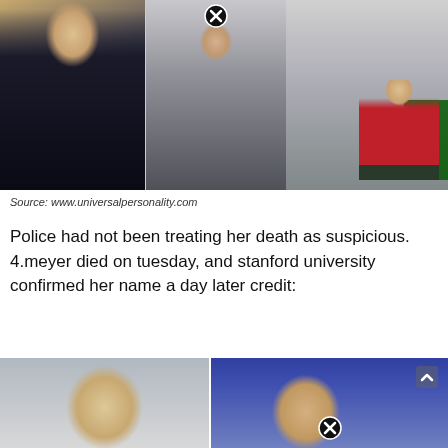[Figure (photo): Collage of three photos: left shows a woman in a black dress with crossed arms, center shows a woman in athletic wear taking a mirror selfie, right shows a woman in a red Stanford jersey #15 holding a soccer ball with another person in green goalkeeper kit]
Source: www.universalpersonality.com
Police had not been treating her death as suspicious. 4.meyer died on tuesday, and stanford university confirmed her name a day later credit:
[Figure (photo): Two photos: left shows a blonde woman headshot/portrait, right shows a blonde woman in athletic wear with a red headband]